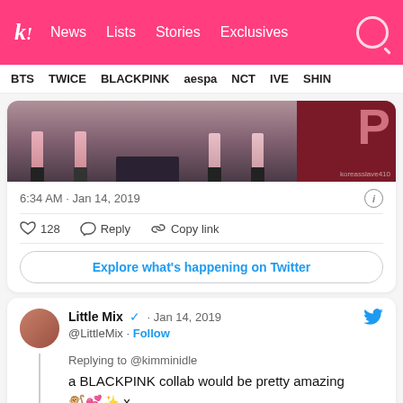k! News  Lists  Stories  Exclusives
BTS  TWICE  BLACKPINK  aespa  NCT  IVE  SHIN
[Figure (photo): Stage performance photo showing legs of performers in short outfits with dark boots/stockings, on a dark stage]
6:34 AM · Jan 14, 2019
128  Reply  Copy link
Explore what's happening on Twitter
Little Mix ✓ · Jan 14, 2019
@LittleMix · Follow
Replying to @kimminidle
a BLACKPINK collab would be pretty amazing 🐒💕✨ x
PINNED 📌